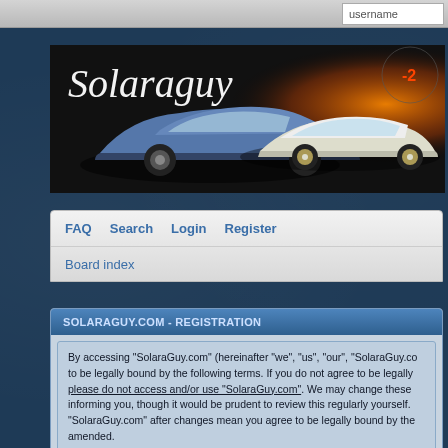[Figure (screenshot): Browser address bar with username input field on the right]
[Figure (photo): Solaraguy.com banner with script text 'Solaraguy' over two cars (blue coupe and white sports car) on dark background with orange light]
FAQ  Search  Login  Register
Board index
SOLARAGUY.COM - REGISTRATION
By accessing "SolaraGuy.com" (hereinafter "we", "us", "our", "SolaraGuy.com" to be legally bound by the following terms. If you do not agree to be legally please do not access and/or use "SolaraGuy.com". We may change these informing you, though it would be prudent to review this regularly yourself. "SolaraGuy.com" after changes mean you agree to be legally bound by the amended.
Our forums are powered by phpBB (hereinafter "them", "themo", "their"